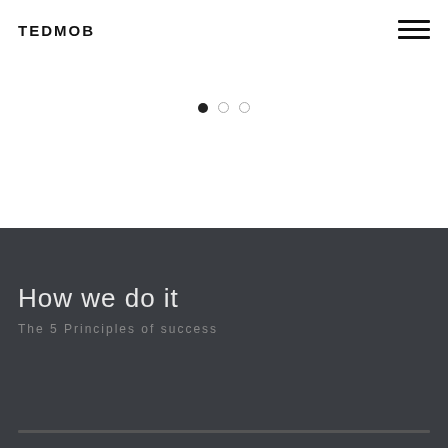TEDMOB
[Figure (other): Three navigation dots: one filled black, two outlined gray — carousel/slider indicator]
How we do it
The 5 Principles of success